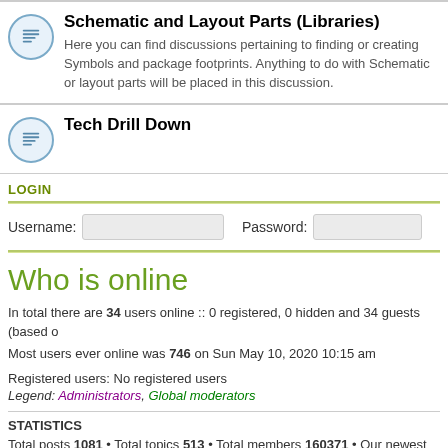Schematic and Layout Parts (Libraries)
Here you can find discussions pertaining to finding or creating Symbols and package footprints. Anything to do with Schematic or layout parts will be placed in this discussion.
Tech Drill Down
LOGIN
Username: [input] Password: [input]
Who is online
In total there are 34 users online :: 0 registered, 0 hidden and 34 guests (based o...
Most users ever online was 746 on Sun May 10, 2020 10:15 am
Registered users: No registered users
Legend: Administrators, Global moderators
STATISTICS
Total posts 1081 • Total topics 513 • Total members 160371 • Our newest membe...